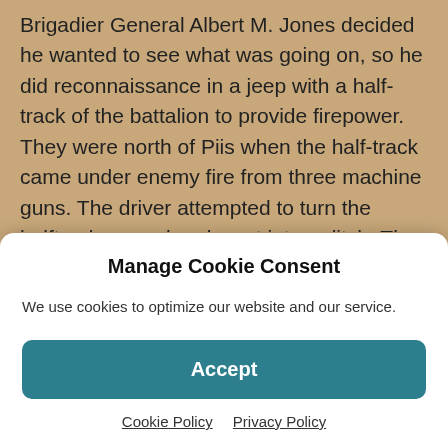Brigadier General Albert M. Jones decided he wanted to see what was going on, so he did reconnaissance in a jeep with a half-track of the battalion to provide firepower. They were north of Piis when the half-track came under enemy fire from three machine guns. The driver attempted to turn the halftrack around and went into a ditch. The crew removed its guns and put down a covering fire allowing Jones to escape. The half-track crew was recommended for the Distinguish Service Cross but nothing came of it. Instead, the men – all but one posthumously – received the Silver Star after the war.
Manage Cookie Consent
We use cookies to optimize our website and our service.
[Figure (other): Accept button - a teal/dark cyan rounded rectangle button with white bold text 'Accept']
Cookie Policy   Privacy Policy